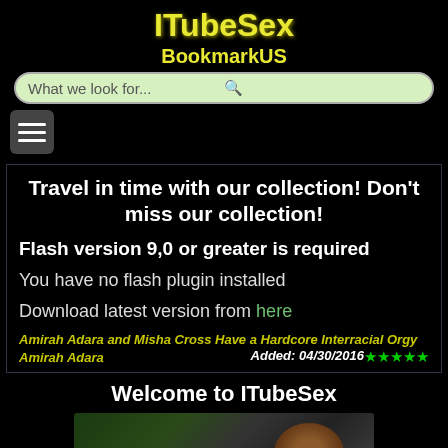ITubeSex
BookmarkUS
What we look for...
Travel in time with our collection! Don't miss our collection!
Flash version 9,0 or greater is required
You have no flash plugin installed
Download latest version from here
Amirah Adara and Misha Cross Have a Hardcore Interracial Orgy ★★★★★ Amirah Adara Added: 04/30/2016
Welcome to ITubeSex
[Figure (photo): Thumbnail image of video content, dark background with figures]